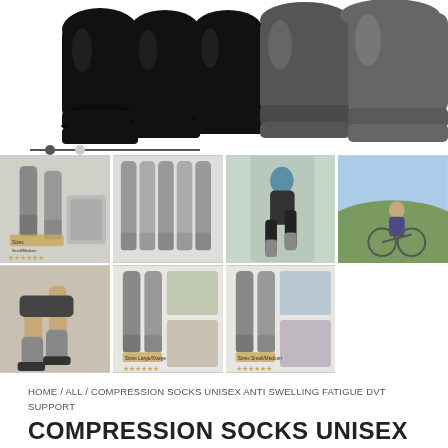[Figure (photo): Main product image showing multiple black and dark grey compression socks arranged in a row against white background]
[Figure (photo): Thumbnail 1: compression socks product image with various sizes shown, grey socks on legs]
[Figure (photo): Thumbnail 2: grey compression socks laid flat, multiple pairs]
[Figure (photo): Thumbnail 3: person running wearing compression socks]
[Figure (photo): Thumbnail 4: person cycling on bicycle outdoors]
[Figure (photo): Thumbnail 5: person running wearing compression socks, close up on legs]
[Figure (photo): Thumbnail 6: compression socks product image with Large/X-Large sizes shown]
[Figure (photo): Thumbnail 7: compression socks product image with Small/Medium sizes shown]
HOME / ALL / COMPRESSION SOCKS UNISEX ANTI SWELLING FATIGUE DVT SUPPORT
COMPRESSION SOCKS UNISEX